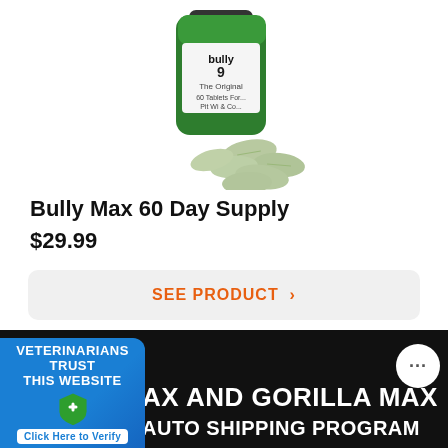[Figure (photo): Product photo of Bully Max 60 Day Supply supplement bottle with green tablets scattered in front]
Bully Max 60 Day Supply
$29.99
SEE PRODUCT >
SEE ALL PRODUCTS >
[Figure (infographic): Dark banner section with Veterinarians Trust This Website badge on the left (blue background with green shield/cross), chat bubble icon on the right, large white uppercase text reading 'AX AND GORILLA MAX' and 'AUTO SHIPPING PROGRAM']